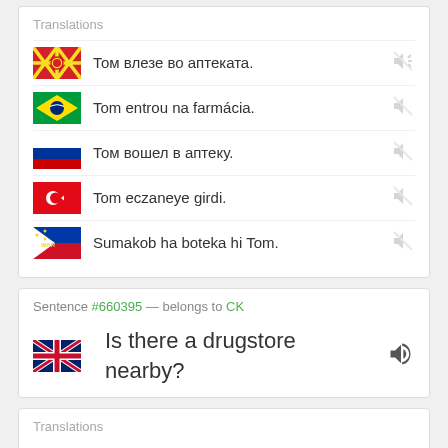Translations
Том влезе во аптеката. [Macedonian]
Tom entrou na farmácia. [Portuguese]
Том вошел в аптеку. [Russian]
Tom eczaneye girdi. [Turkish]
Sumakob ha boteka hi Tom. [Waray]
Sentence #660395 — belongs to CK
Is there a drugstore nearby?
Translations